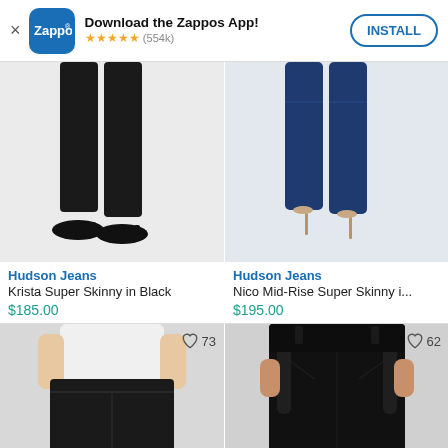[Figure (screenshot): Zappos app install banner with logo, 5-star rating (554k), and INSTALL button]
[Figure (photo): Hudson Jeans Krista Super Skinny in Black - legs in black skinny jeans with black flats]
Hudson Jeans
Krista Super Skinny in Black
$185.00
[Figure (photo): Hudson Jeans Nico Mid-Rise Super Skinny - legs in dark blue jeans with nude heels]
Hudson Jeans
Nico Mid-Rise Super Skinny i...
$195.00
[Figure (photo): Dark jeans product photo - partial torso in white top and black skinny jeans, wishlist 73]
[Figure (photo): Black leather-look pants product photo - partial torso, wishlist 62]